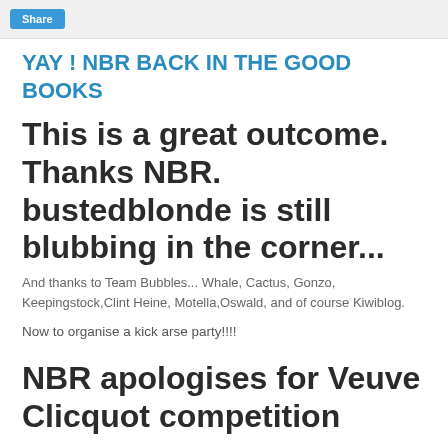Share
YAY ! NBR BACK IN THE GOOD BOOKS
This is a great outcome. Thanks NBR. bustedblonde is still blubbing in the corner...
And thanks to Team Bubbles... Whale, Cactus, Gonzo, Keepingstock,Clint Heine, Motella,Oswald, and of course Kiwiblog.
Now to organise a kick arse party!!!!
NBR apologises for Veuve Clicquot competition